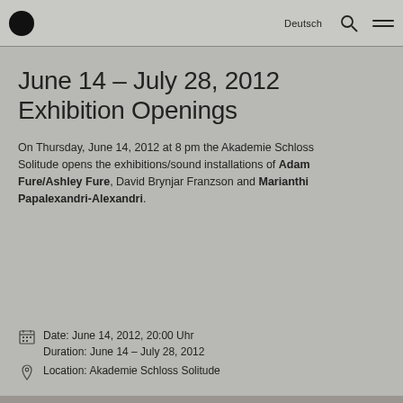Deutsch
June 14 – July 28, 2012
Exhibition Openings
On Thursday, June 14, 2012 at 8 pm the Akademie Schloss Solitude opens the exhibitions/sound installations of Adam Fure/Ashley Fure, David Brynjar Franzson and Marianthi Papalexandri-Alexandri.
Date: June 14, 2012, 20:00 Uhr
Duration: June 14 – July 28, 2012
Location: Akademie Schloss Solitude